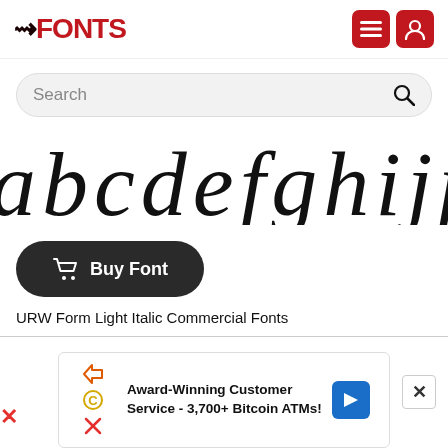[Figure (logo): 1FONTS logo with red text and hamburger menu + user icon buttons in red]
[Figure (screenshot): Search bar with placeholder text 'Search' and magnifying glass icon]
[Figure (screenshot): Font preview showing italic characters partially cropped]
[Figure (screenshot): Dark rounded Buy Font button with shopping cart icon]
URW Form Light Italic Commercial Fonts
[Figure (screenshot): Close X button overlay]
[Figure (screenshot): Advertisement banner: Award-Winning Customer Service - 3,700+ Bitcoin ATMs!]